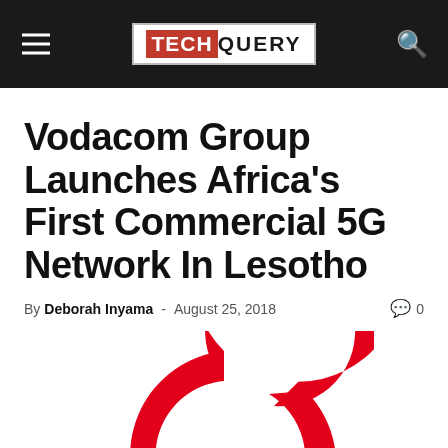TECHQUERY
Vodacom Group Launches Africa's First Commercial 5G Network In Lesotho
By Deborah Inyama - August 25, 2018  0
[Figure (logo): Vodacom red ring logo on white background]